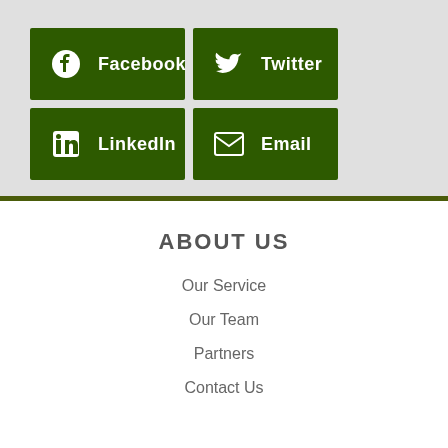[Figure (infographic): Four social media share buttons arranged in a 2x2 grid on a light gray background: Facebook, Twitter, LinkedIn, Email — each with icon and label, dark green background]
ABOUT US
Our Service
Our Team
Partners
Contact Us